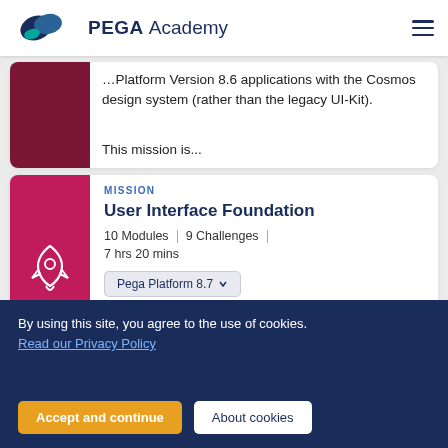PEGA Academy
Platform Version 8.6 applications with the Cosmos design system (rather than the legacy UI-Kit).

This mission is...
MISSION
User Interface Foundation
10 Modules | 9 Challenges
7 hrs 20 mins
Pega Platform 8.7
By using this site, you agree to the use of cookies.
Read our Privacy Policy
Accept and continue
About cookies